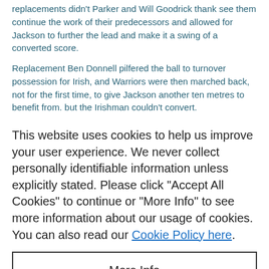replacements didn't Parker and Will Goodrick thank see them continue the work of their predecessors and allowed for Jackson to further the lead and make it a swing of a converted score.
Replacement Ben Donnell pilfered the ball to turnover possession for Irish, and Warriors were then marched back, not for the first time, to give Jackson another ten metres to benefit from. but the Irishman couldn't convert.
This website uses cookies to help us improve your user experience. We never collect personally identifiable information unless explicitly stated. Please click "Accept All Cookies" to continue or "More Info" to see more information about our usage of cookies. You can also read our Cookie Policy here.
More Info
Accept All Cookies